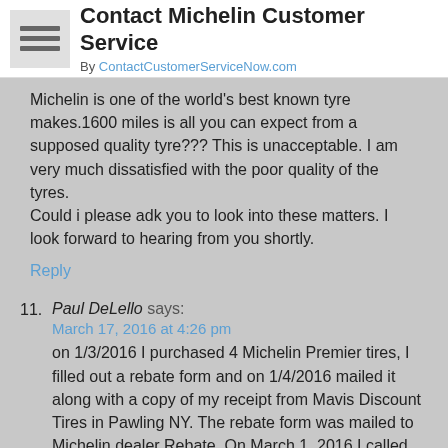Contact Michelin Customer Service
By ContactCustomerServiceNow.com
Michelin is one of the world's best known tyre makes.1600 miles is all you can expect from a supposed quality tyre??? This is unacceptable. I am very much dissatisfied with the poor quality of the tyres.
Could i please adk you to look into these matters. I look forward to hearing from you shortly.
Reply
11. Paul DeLello says:
March 17, 2016 at 4:26 pm
on 1/3/2016 I purchased 4 Michelin Premier tires, I filled out a rebate form and on 1/4/2016 mailed it along with a copy of my receipt from Mavis Discount Tires in Pawling NY. The rebate form was mailed to Michelin dealer Rebate. On March 1, 2016 I called the number that is on the rebate form to inquire about the status of my rebate and was told that my